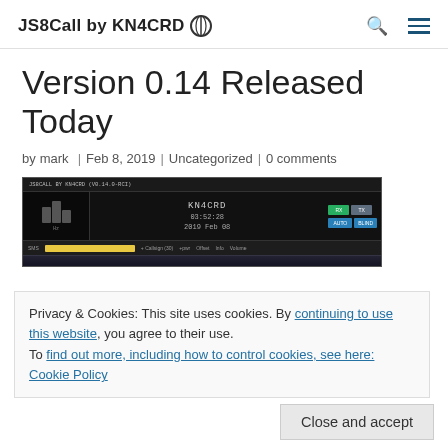JS8Call by KN4CRD
Version 0.14 Released Today
by mark | Feb 8, 2019 | Uncategorized | 0 comments
[Figure (screenshot): Screenshot of JS8Call software interface showing KN4CRD callsign, timestamp 03:52:28, date 2019 Feb 08, green and blue buttons on the right, and a waterfall display at the bottom.]
Privacy & Cookies: This site uses cookies. By continuing to use this website, you agree to their use. To find out more, including how to control cookies, see here: Cookie Policy
Close and accept